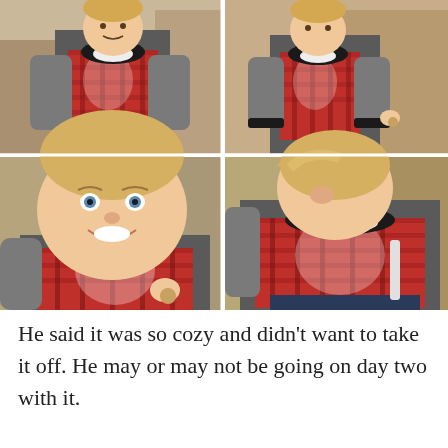[Figure (photo): Four-panel photo collage of a young blond boy wearing a red and gray plaid raglan sweater with black trim. Top-left: boy standing facing camera outdoors with autumn leaves in background. Top-right: boy in profile/side view holding something in his hand. Bottom-left: close-up of boy's smiling face and upper body. Bottom-right: boy looking down at his shirt.]
He said it was so cozy and didn't want to take it off.  He may or may not be going on day two with it.